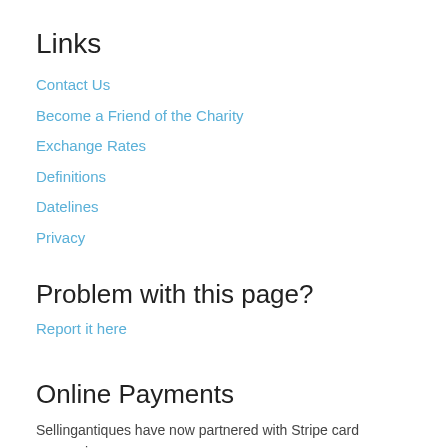Links
Contact Us
Become a Friend of the Charity
Exchange Rates
Definitions
Datelines
Privacy
Problem with this page?
Report it here
Online Payments
Sellingantiques have now partnered with Stripe card processing.
You will notice the a purchase box on some antiques.
You will be able to use credit/debit card, Amex and Google Pay to instantly purchase antiques from authorised dealers.